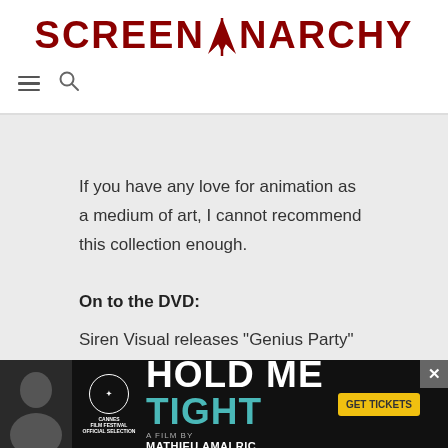SCREENANARCHY
If you have any love for animation as a medium of art, I cannot recommend this collection enough.
On to the DVD:
Siren Visual releases "Genius Party" as a two disc set. It is Region 4 encoded (and PAL) so make sure your set can deal with cardboard and plastic affairs you'd
[Figure (photo): Advertisement banner for 'Hold Me Tight', a film by Mathieu Amalric, Cannes Film Festival Official Selection, with a Get Tickets button.]